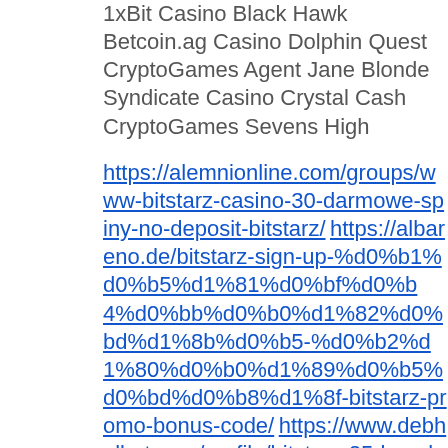1xBit Casino Black Hawk
Betcoin.ag Casino Dolphin Quest
CryptoGames Agent Jane Blonde
Syndicate Casino Crystal Cash
CryptoGames Sevens High
https://alemnionline.com/groups/www-bitstarz-casino-30-darmowe-spiny-no-deposit-bitstarz/ https://albareno.de/bitstarz-sign-up-%d0%b1%d0%b5%d1%81%d0%bf%d0%bb%d0%b0%d1%82%d0%bd%d1%8b%d0%b5-%d0%b2%d1%80%d0%b0%d1%89%d0%b5%d0%bd%d0%b8%d1%8f-bitstarz-promo-bonus-code/ https://www.debhallart.com/profile/bitstarz-25-besplatnye-vrasheniya-bitstarz-bezdepozitnyj-bonus-20-tours-gratuits-4975/profile https://www.norigrowth.com/profile/https-www-bitstarz-com-9274/profile